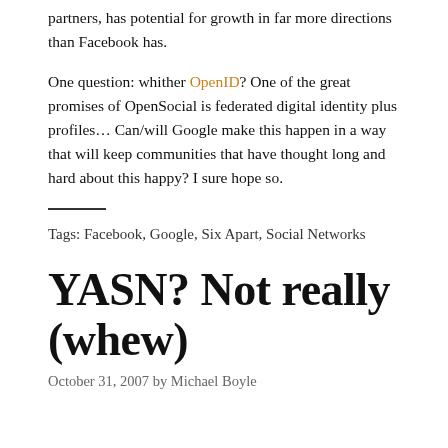partners, has potential for growth in far more directions than Facebook has.
One question: whither OpenID? One of the great promises of OpenSocial is federated digital identity plus profiles... Can/will Google make this happen in a way that will keep communities that have thought long and hard about this happy? I sure hope so.
Tags: Facebook, Google, Six Apart, Social Networks
YASN? Not really (whew)
October 31, 2007 by Michael Boyle